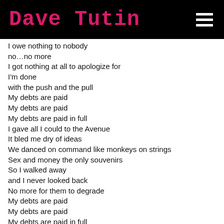Dave Tutin
I owe nothing to nobody
no…no more
I got nothing at all to apologize for
I'm done
with the push and the pull
My debts are paid
My debts are paid
My debts are paid in full
I gave all I could to the Avenue
It bled me dry of ideas
We danced on command like monkeys on strings
Sex and money the only souvenirs
So I walked away
and I never looked back
No more for them to degrade
My debts are paid
My debts are paid
My debts are paid in full